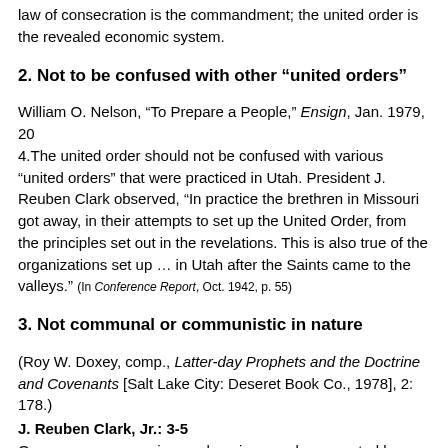law of consecration is the commandment; the united order is the revealed economic system.
2. Not to be confused with other “united orders”
William O. Nelson, “To Prepare a People,” Ensign, Jan. 1979, 204.The united order should not be confused with various “united orders” that were practiced in Utah. President J. Reuben Clark observed, “In practice the brethren in Missouri got away, in their attempts to set up the United Order, from the principles set out in the revelations. This is also true of the organizations set up … in Utah after the Saints came to the valleys.” (In Conference Report, Oct. 1942, p. 55)
3. Not communal or communistic in nature
(Roy W. Doxey, comp., Latter-day Prophets and the Doctrine and Covenants [Salt Lake City: Deseret Book Co., 1978], 2: 178.)
J. Reuben Clark, Jr.: 3-5
One very common misapprehension may be corrected here regarding the United Order. The Church never was, and under existing commandments never will be, a communal